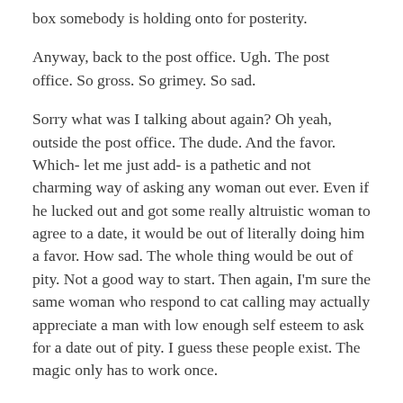box somebody is holding onto for posterity.
Anyway, back to the post office. Ugh. The post office. So gross. So grimey. So sad.
Sorry what was I talking about again? Oh yeah, outside the post office. The dude. And the favor. Which- let me just add- is a pathetic and not charming way of asking any woman out ever. Even if he lucked out and got some really altruistic woman to agree to a date, it would be out of literally doing him a favor. How sad. The whole thing would be out of pity. Not a good way to start. Then again, I'm sure the same woman who respond to cat calling may actually appreciate a man with low enough self esteem to ask for a date out of pity. I guess these people exist. The magic only has to work once.